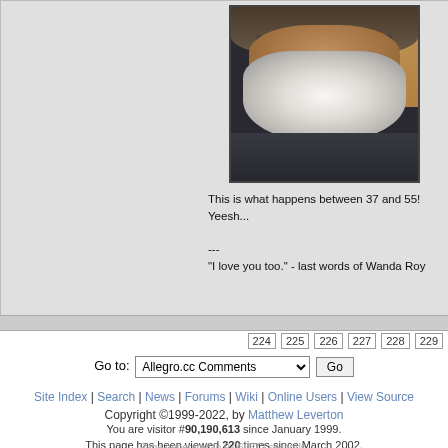[Figure (photo): Photo of an older man with a large white beard wearing a dark shirt, against a light wooden background]
This is what happens between 37 and 55! Yeesh...

---
"I love you too." - last words of Wanda Roy
224 | 225 | 226 | 227 | 228 | 229
Go to: Allegro.cc Comments  Go
Site Index | Search | News | Forums | Wiki | Online Users | View Source
Copyright ©1999-2022, by Matthew Leverton
You are visitor #90,190,613 since January 1999.
This page has been viewed 220 times since March 2002.
Page generated in 0.060872 seconds.